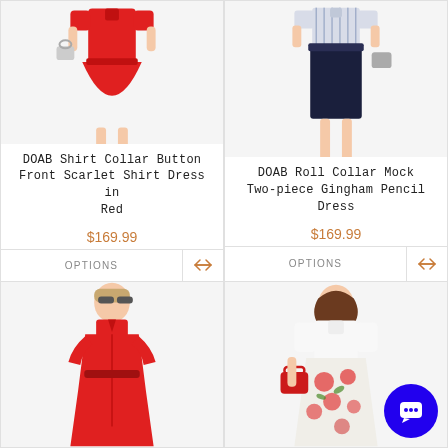[Figure (photo): Model wearing DOAB Shirt Collar Button Front Scarlet Shirt Dress in Red, cropped view of torso and legs]
DOAB Shirt Collar Button Front Scarlet Shirt Dress in Red
$169.99
OPTIONS
[Figure (photo): Model wearing DOAB Roll Collar Mock Two-piece Gingham Pencil Dress in navy/white, cropped view]
DOAB Roll Collar Mock Two-piece Gingham Pencil Dress
$169.99
OPTIONS
[Figure (photo): Model wearing red dress, full length, cropped bottom card]
[Figure (photo): Model wearing white floral dress with red bag, cropped bottom card]